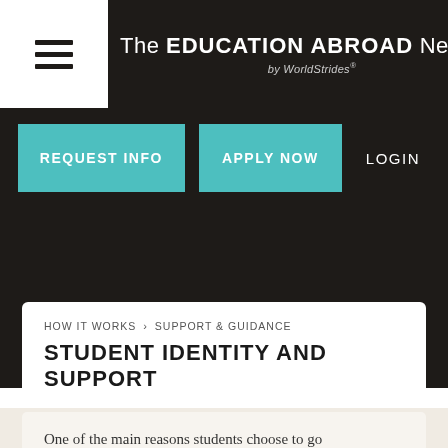The EDUCATION ABROAD Network by WorldStrides
[Figure (screenshot): Navigation bar with REQUEST INFO and APPLY NOW teal buttons and LOGIN link]
HOW IT WORKS > SUPPORT & GUIDANCE — STUDENT IDENTITY AND SUPPORT
One of the main reasons students choose to go